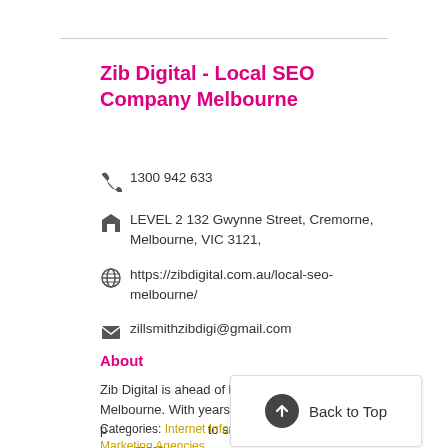Zib Digital - Local SEO Company Melbourne
1300 942 633
LEVEL 2 132 Gwynne Street, Cremorne, Melbourne, VIC 3121,
https://zibdigital.com.au/local-seo-melbourne/
zillsmithzibdigi@gmail.com
About
Zib Digital is ahead of local SEO company Melbourne. With years of experience and expertise in p… to small and large busines… more
Categories: Internet Information & Services, Marketing Agencies.